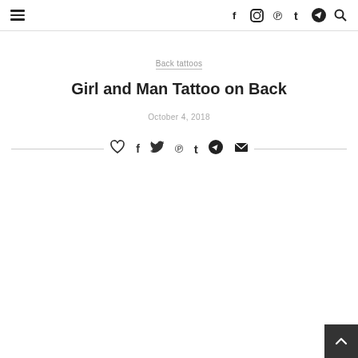Navigation bar with hamburger menu and social icons (Facebook, Instagram, Pinterest, Tumblr, Telegram, Search)
Back tattoos
Girl and Man Tattoo on Back
October 4, 2018
Share bar with icons: like/heart, Facebook, Twitter, Pinterest, Tumblr, Telegram, Email